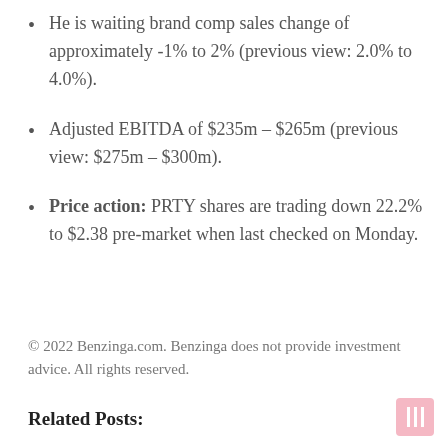He is waiting brand comp sales change of approximately -1% to 2% (previous view: 2.0% to 4.0%).
Adjusted EBITDA of $235m – $265m (previous view: $275m – $300m).
Price action: PRTY shares are trading down 22.2% to $2.38 pre-market when last checked on Monday.
© 2022 Benzinga.com. Benzinga does not provide investment advice. All rights reserved.
Related Posts: